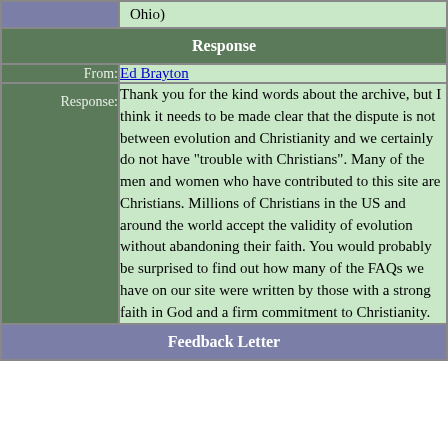| (continuation) Ohio) |  |
| Response |  |
| From: | Ed Brayton |
| Response: | Thank you for the kind words about the archive, but I think it needs to be made clear that the dispute is not between evolution and Christianity and we certainly do not have "trouble with Christians". Many of the men and women who have contributed to this site are Christians. Millions of Christians in the US and around the world accept the validity of evolution without abandoning their faith. You would probably be surprised to find out how many of the FAQs we have on our site were written by those with a strong faith in God and a firm commitment to Christianity. |
| Feedback Letter |  |